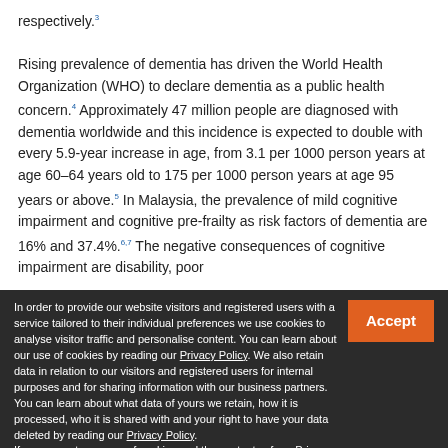respectively.³ Rising prevalence of dementia has driven the World Health Organization (WHO) to declare dementia as a public health concern.⁴ Approximately 47 million people are diagnosed with dementia worldwide and this incidence is expected to double with every 5.9-year increase in age, from 3.1 per 1000 person years at age 60–64 years old to 175 per 1000 person years at age 95 years or above.⁵ In Malaysia, the prevalence of mild cognitive impairment and cognitive pre-frailty as risk factors of dementia are 16% and 37.4%.⁶˒⁷ The negative consequences of cognitive impairment are disability, poor
In order to provide our website visitors and registered users with a service tailored to their individual preferences we use cookies to analyse visitor traffic and personalise content. You can learn about our use of cookies by reading our Privacy Policy. We also retain data in relation to our visitors and registered users for internal purposes and for sharing information with our business partners. You can learn about what data of yours we retain, how it is processed, who it is shared with and your right to have your data deleted by reading our Privacy Policy. If you agree to our use of cookies and the contents of our Privacy Policy please click 'accept'.